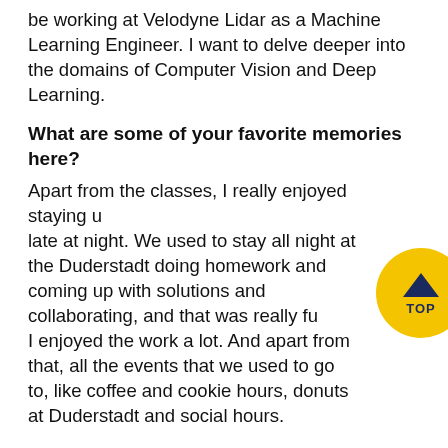be working at Velodyne Lidar as a Machine Learning Engineer. I want to delve deeper into the domains of Computer Vision and Deep Learning.
What are some of your favorite memories here?
Apart from the classes, I really enjoyed staying up late at night. We used to stay all night at the Duderstadt doing homework and coming up with solutions and collaborating, and that was really fun. I enjoyed the work a lot. And apart from that, all the events that we used to go to, like coffee and cookie hours, donuts at Duderstadt and social hours.
Do you have any hobbies?
I'm a trained classical dancer and a synthesizer player, so I indulge myself in dancing and